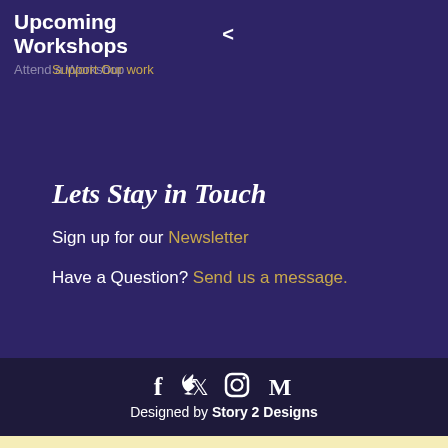Upcoming Workshops <
Attend a Workshop
Support Our work
Lets Stay in Touch
Sign up for our Newsletter
Have a Question? Send us a message.
[Figure (other): Social media icons: Facebook, Twitter, Instagram, Medium]
Designed by Story 2 Designs